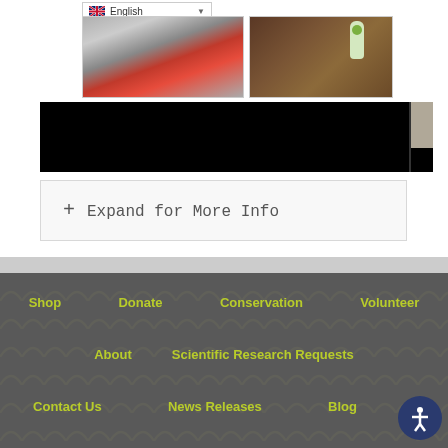[Figure (screenshot): Language selector dropdown showing English with UK flag]
[Figure (photo): Two photos side by side: left shows red equipment with water, right shows plant in container on wicker background]
[Figure (photo): Video player bar showing black background with small thumbnail on right]
+ Expand for More Info
Shop | Donate | Conservation | Volunteer | About | Scientific Research Requests | Contact Us | News Releases | Blog